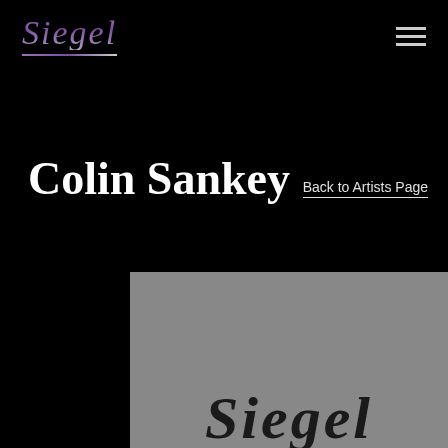Siegel
Colin Sankey
Back to Artists Page
[Figure (photo): Gray image area with the Siegel logo text visible at the bottom, partially cropped]